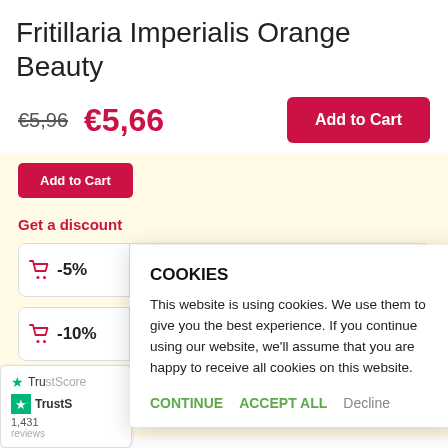Fritillaria Imperialis Orange Beauty
€5,96  €5,66   Add to Cart
Get a discount
-5%  BUY 3 FOR €5,38 EACH
-10%  BUY 5 FOR €5,09 EACH
-15%  BUY 10 FOR €4,81 EACH
TrustScore  1,431
COOKIES
This website is using cookies. We use them to give you the best experience. If you continue using our website, we'll assume that you are happy to receive all cookies on this website.
CONTINUE   ACCEPT ALL   Decline